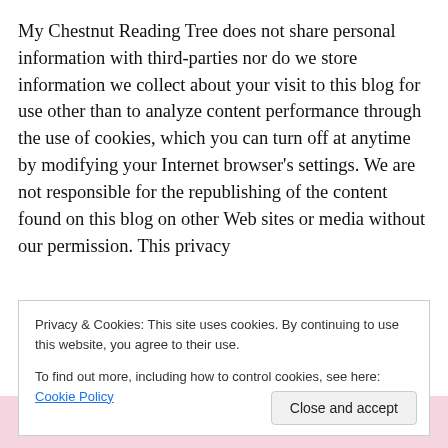My Chestnut Reading Tree does not share personal information with third-parties nor do we store information we collect about your visit to this blog for use other than to analyze content performance through the use of cookies, which you can turn off at anytime by modifying your Internet browser's settings. We are not responsible for the republishing of the content found on this blog on other Web sites or media without our permission. This privacy
Privacy & Cookies: This site uses cookies. By continuing to use this website, you agree to their use.
To find out more, including how to control cookies, see here: Cookie Policy
[Figure (other): Bottom banner showing 'Customize everything' text in pink and dark colors]